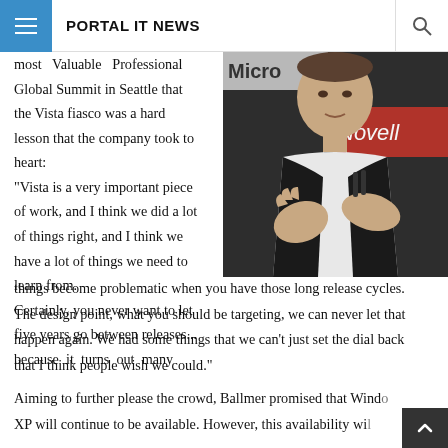PORTAL IT NEWS
[Figure (photo): Man in dark suit gesturing with hands, Microsoft/Novell signage visible in background]
most Valuable Professional Global Summit in Seattle that the Vista fiasco was a hard lesson that the company took to heart:
"Vista is a very important piece of work, and I think we did a lot of things right, and I think we have a lot of things we need to learn from. Certainly, you never want to let five years go between releases... because it turns out many things become problematic when you have those long release cycles. The design point, what you should be targeting, we can never let that happen again. We had some things that we can't just set the dial back that I think people wish we could."
Aiming to further please the crowd, Ballmer promised that Windows XP will continue to be available. However, this availability wi...